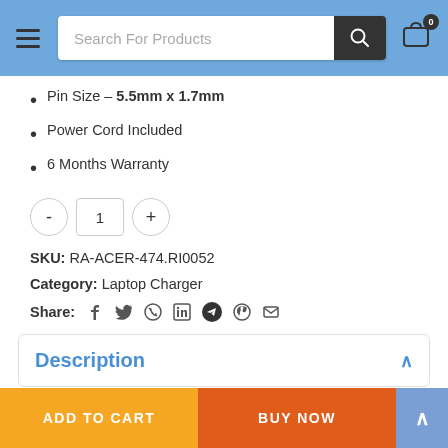[Figure (screenshot): E-commerce website header with hamburger menu, search bar labeled 'Search For Products', search button, and shopping cart icon with badge showing 0]
Pin Size – 5.5mm x 1.7mm
Power Cord Included
6 Months Warranty
SKU: RA-ACER-474.RI0052
Category: Laptop Charger
Share: [Facebook] [Twitter] [WhatsApp] [LinkedIn] [Telegram] [Pinterest] [Email]
Description